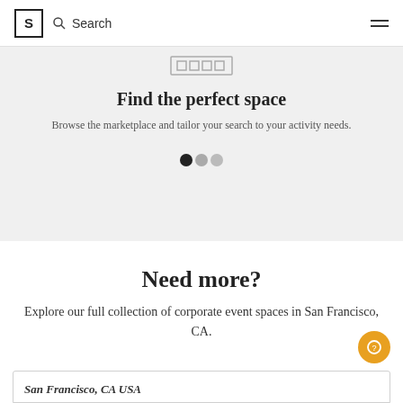S  Search
[Figure (screenshot): Partial image of a UI component at top of gray section]
Find the perfect space
Browse the marketplace and tailor your search to your activity needs.
[Figure (infographic): Three pagination dots: one filled black, two gray]
Need more?
Explore our full collection of corporate event spaces in San Francisco, CA.
San Francisco, CA USA